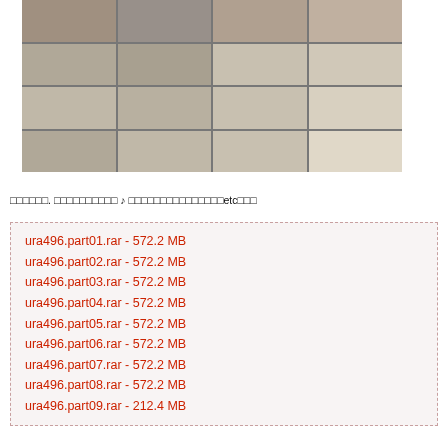[Figure (photo): Grid of video thumbnails arranged in 4 columns and 4 rows]
□□□□□□. □□□□□□□□□□ ♪ □□□□□□□□□□□□□□□etc□□□
ura496.part01.rar - 572.2 MB
ura496.part02.rar - 572.2 MB
ura496.part03.rar - 572.2 MB
ura496.part04.rar - 572.2 MB
ura496.part05.rar - 572.2 MB
ura496.part06.rar - 572.2 MB
ura496.part07.rar - 572.2 MB
ura496.part08.rar - 572.2 MB
ura496.part09.rar - 212.4 MB